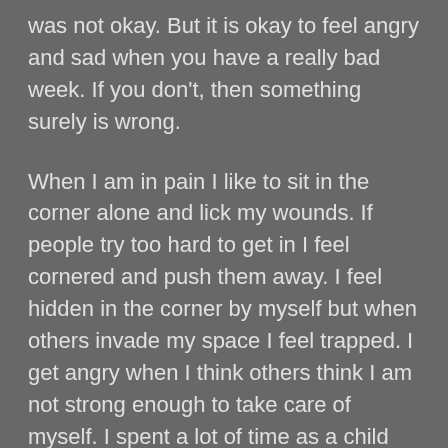was not okay. But it is okay to feel angry and sad when you have a really bad week. If you don't, then something surely is wrong.
When I am in pain I like to sit in the corner alone and lick my wounds. If people try too hard to get in I feel cornered and push them away. I feel hidden in the corner by myself but when others invade my space I feel trapped. I get angry when I think others think I am not strong enough to take care of myself. I spent a lot of time as a child alone mending my wounds.